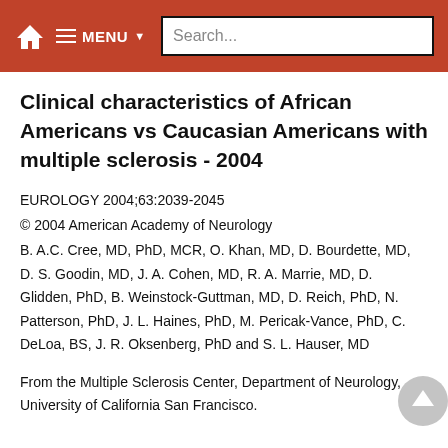MENU Search...
Clinical characteristics of African Americans vs Caucasian Americans with multiple sclerosis - 2004
EUROLOGY 2004;63:2039-2045
© 2004 American Academy of Neurology
B. A.C. Cree, MD, PhD, MCR, O. Khan, MD, D. Bourdette, MD, D. S. Goodin, MD, J. A. Cohen, MD, R. A. Marrie, MD, D. Glidden, PhD, B. Weinstock-Guttman, MD, D. Reich, PhD, N. Patterson, PhD, J. L. Haines, PhD, M. Pericak-Vance, PhD, C. DeLoa, BS, J. R. Oksenberg, PhD and S. L. Hauser, MD
From the Multiple Sclerosis Center, Department of Neurology, University of California San Francisco.